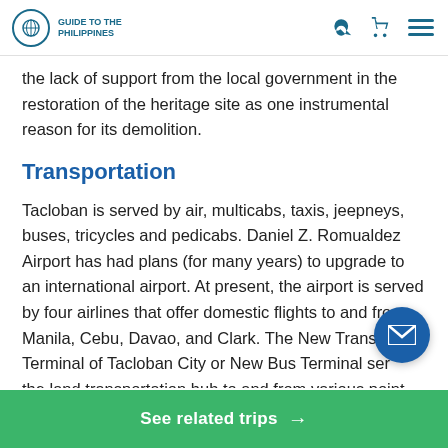GUIDE TO THE PHILIPPINES
the lack of support from the local government in the restoration of the heritage site as one instrumental reason for its demolition.
Transportation
Tacloban is served by air, multicabs, taxis, jeepneys, buses, tricycles and pedicabs. Daniel Z. Romualdez Airport has had plans (for many years) to upgrade to an international airport. At present, the airport is served by four airlines that offer domestic flights to and from Manila, Cebu, Davao, and Clark. The New Transport Terminal of Tacloban City or New Bus Terminal serves the land transportation hub to and from various points in
See related trips →